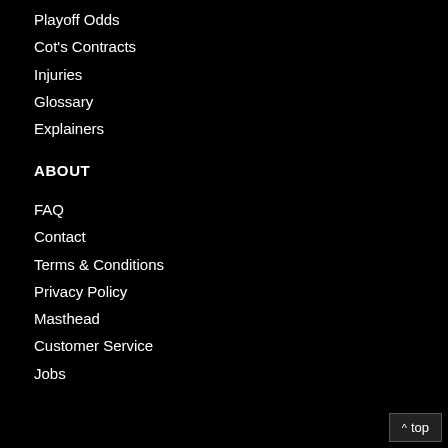Playoff Odds
Cot's Contracts
Injuries
Glossary
Explainers
ABOUT
FAQ
Contact
Terms & Conditions
Privacy Policy
Masthead
Customer Service
Jobs
^ top